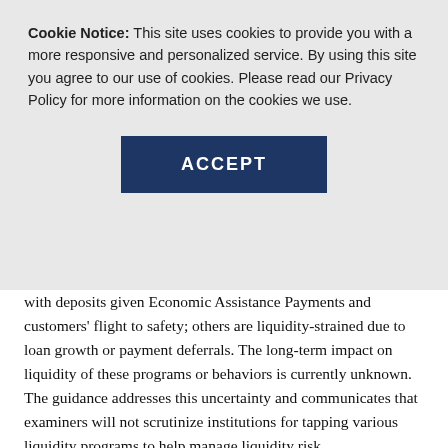Cookie Notice: This site uses cookies to provide you with a more responsive and personalized service. By using this site you agree to our use of cookies. Please read our Privacy Policy for more information on the cookies we use.
ACCEPT
with deposits given Economic Assistance Payments and customers' flight to safety; others are liquidity-strained due to loan growth or payment deferrals. The long-term impact on liquidity of these programs or behaviors is currently unknown. The guidance addresses this uncertainty and communicates that examiners will not scrutinize institutions for tapping various liquidity programs to help manage liquidity risk.
What does this mean to your institution?